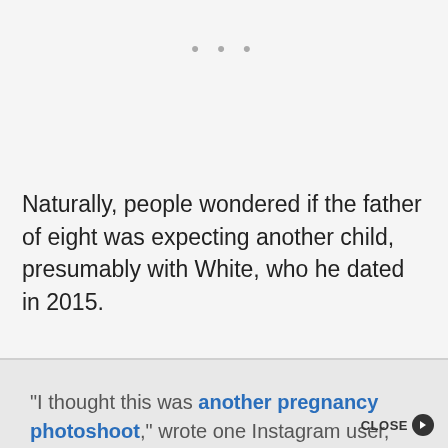• • •
Naturally, people wondered if the father of eight was expecting another child, presumably with White, who he dated in 2015.
“I thought this was another pregnancy photoshoot,” wrote one Instagram user, while another person chimed in: